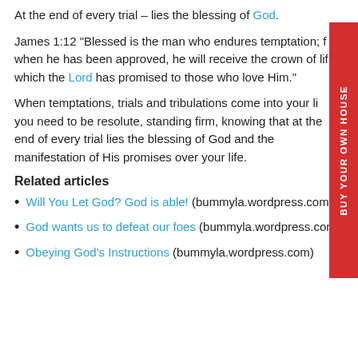At the end of every trial – lies the blessing of God.
James 1:12 "Blessed is the man who endures temptation; for when he has been approved, he will receive the crown of life which the Lord has promised to those who love Him."
When temptations, trials and tribulations come into your life, you need to be resolute, standing firm, knowing that at the end of every trial lies the blessing of God and the manifestation of His promises over your life.
Related articles
Will You Let God? God is able! (bummyla.wordpress.com)
God wants us to defeat our foes (bummyla.wordpress.com)
Obeying God's Instructions (bummyla.wordpress.com)